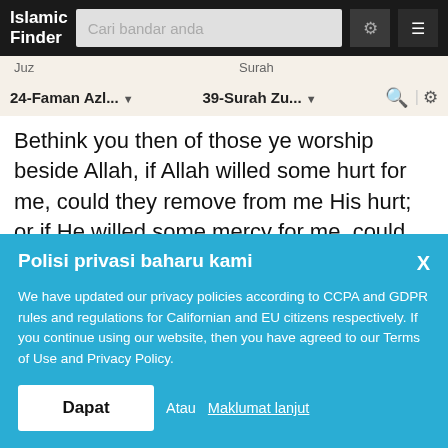Islamic Finder | Cari bandar anda
Juz · Surah
24-Faman Azl... ▾   39-Surah Zu... ▾
Bethink you then of those ye worship beside Allah, if Allah willed some hurt for me, could they remove from me His hurt; or if He willed some mercy for me, could they restrain His mercy? Say: Allah is my all. In Him do
Polisi privasi baharu kami
We have updated our privacy policies according to CCPA and GDPR rules and regulations for Californian and EU citizens respectively. If you continue using our website, then you have agreed to our Terms of Use and Privacy Policy.
Dapat   Atau Maklumat lanjut